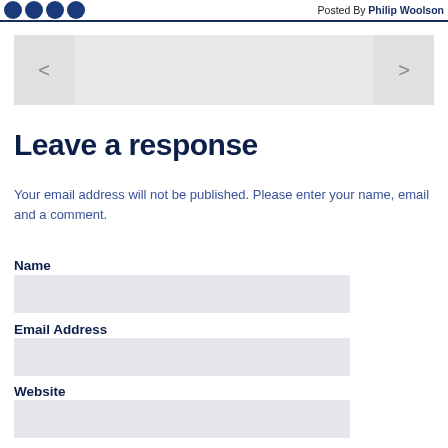Posted By Philip Woolson
[Figure (other): Navigation bar with left arrow (<), center empty area, and right arrow (>)]
Leave a response
Your email address will not be published. Please enter your name, email and a comment.
Name
Email Address
Website